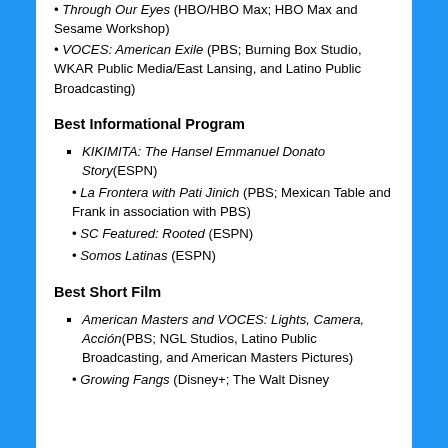Through Our Eyes (HBO/HBO Max; HBO Max and Sesame Workshop)
VOCES: American Exile (PBS; Burning Box Studio, WKAR Public Media/East Lansing, and Latino Public Broadcasting)
Best Informational Program
KIKIMITA: The Hansel Emmanuel Donato Story(ESPN)
La Frontera with Pati Jinich (PBS; Mexican Table and Frank in association with PBS)
SC Featured: Rooted (ESPN)
Somos Latinas (ESPN)
Best Short Film
American Masters and VOCES: Lights, Camera, Acción(PBS; NGL Studios, Latino Public Broadcasting, and American Masters Pictures)
Growing Fangs (Disney+; The Walt Disney